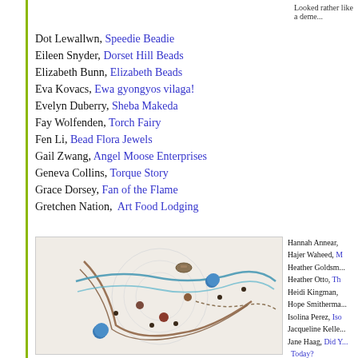Looked rather like a deme...
Dot Lewallwn, Speedie Beadie
Eileen Snyder, Dorset Hill Beads
Elizabeth Bunn, Elizabeth Beads
Eva Kovacs, Ewa gyongyos vilaga!
Evelyn Duberry, Sheba Makeda
Fay Wolfenden, Torch Fairy
Fen Li, Bead Flora Jewels
Gail Zwang, Angel Moose Enterprises
Geneva Collins, Torque Story
Grace Dorsey, Fan of the Flame
Gretchen Nation, Art Food Lodging
[Figure (photo): A beaded necklace with turquoise and brown beads arranged in a curved pattern on a white lace background]
Hannah Annear,
Hajer Waheed, M...
Heather Goldsm...
Heather Otto, Th...
Heidi Kingman,
Hope Smitherma...
Isolina Perez, Iso...
Jacqueline Kelle...
Jane Haag, Did Y... Today?
Janeen Sorensen...
Jean Peter, Jean...